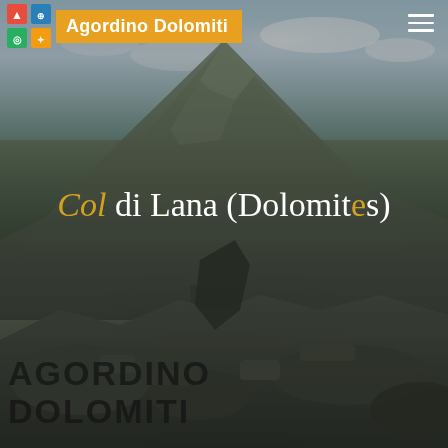[Figure (photo): Landscape photograph of Col di Lana in the Dolomites, Italy. Rocky mountain terrain with stone ruins/trenches in the foreground, a steep rocky peak in the background, and a partly cloudy sky. The image is darkened with an overlay.]
Agordino Dolomiti
Col di Lana (Dolomites)
AGORDINO DOLOMITI